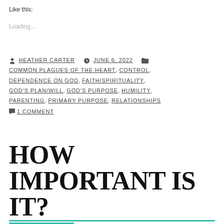Like this:
Loading...
HEATHER CARTER   JUNE 6, 2022   COMMON PLAGUES OF THE HEART, CONTROL, DEPENDENCE ON GOD, FAITH/SPIRITUALITY, GOD'S PLAN/WILL, GOD'S PURPOSE, HUMILITY, PARENTING, PRIMARY PURPOSE, RELATIONSHIPS   1 COMMENT
HOW IMPORTANT IS IT?